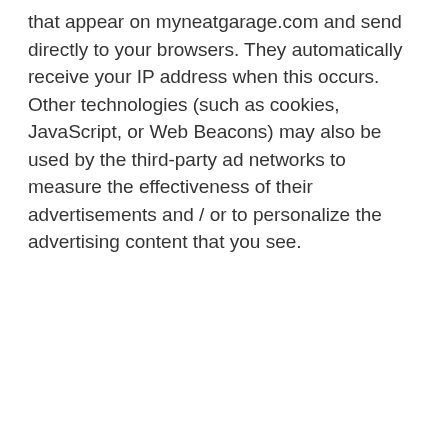that appear on myneatgarage.com and send directly to your browsers. They automatically receive your IP address when this occurs. Other technologies (such as cookies, JavaScript, or Web Beacons) may also be used by the third-party ad networks to measure the effectiveness of their advertisements and / or to personalize the advertising content that you see.